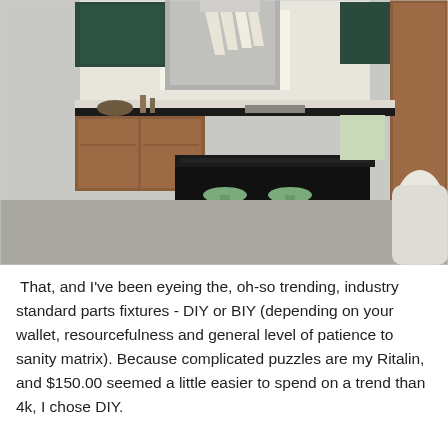[Figure (photo): Interior photo of a modern kitchen with dark green upper cabinets, walnut wood lower cabinets, black granite island, two green metal stools, stainless steel range hood, pendant chandelier with white shades, and a window overlooking the outdoors.]
That, and I've been eyeing the, oh-so trending, industry standard parts fixtures - DIY or BIY (depending on your wallet, resourcefulness and general level of patience to sanity matrix). Because complicated puzzles are my Ritalin, and $150.00 seemed a little easier to spend on a trend than 4k, I chose DIY.